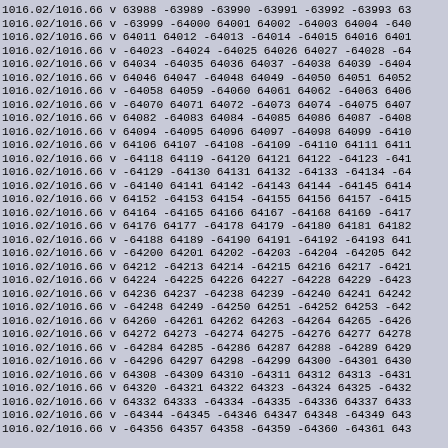1016.02/1016.66 v 63988 -63989 -63990 -63991 -63992 -63993 63
1016.02/1016.66 v -63999 -64000 64001 64002 -64003 64004 -640
1016.02/1016.66 v 64011 64012 -64013 -64014 -64015 64016 6401
1016.02/1016.66 v -64023 -64024 -64025 64026 64027 -64028 -64
1016.02/1016.66 v 64034 -64035 64036 64037 -64038 64039 -6404
1016.02/1016.66 v 64046 64047 -64048 64049 -64050 64051 64052
1016.02/1016.66 v -64058 64059 -64060 64061 64062 -64063 6406
1016.02/1016.66 v -64070 64071 64072 -64073 64074 -64075 6407
1016.02/1016.66 v 64082 -64083 64084 -64085 64086 64087 -6408
1016.02/1016.66 v 64094 -64095 64096 64097 -64098 64099 -6410
1016.02/1016.66 v 64106 64107 -64108 -64109 -64110 64111 6411
1016.02/1016.66 v -64118 64119 -64120 64121 64122 -64123 -641
1016.02/1016.66 v -64129 -64130 64131 64132 -64133 -64134 -64
1016.02/1016.66 v -64140 64141 64142 -64143 64144 -64145 6414
1016.02/1016.66 v 64152 -64153 64154 -64155 64156 64157 -6415
1016.02/1016.66 v 64164 -64165 64166 64167 -64168 64169 -6417
1016.02/1016.66 v 64176 64177 -64178 64179 -64180 64181 64182
1016.02/1016.66 v -64188 64189 -64190 64191 -64192 -64193 641
1016.02/1016.66 v -64200 64201 64202 -64203 -64204 -64205 642
1016.02/1016.66 v 64212 -64213 64214 -64215 64216 64217 -6421
1016.02/1016.66 v 64224 -64225 64226 64227 -64228 64229 -6423
1016.02/1016.66 v 64236 64237 -64238 64239 -64240 64241 64242
1016.02/1016.66 v -64248 64249 -64250 64251 -64252 64253 -642
1016.02/1016.66 v 64260 -64261 64262 64263 -64264 64265 -6426
1016.02/1016.66 v 64272 64273 -64274 64275 -64276 64277 64278
1016.02/1016.66 v -64284 64285 -64286 64287 64288 -64289 6429
1016.02/1016.66 v -64296 64297 64298 -64299 64300 -64301 6430
1016.02/1016.66 v 64308 -64309 64310 -64311 64312 64313 -6431
1016.02/1016.66 v 64320 -64321 64322 64323 -64324 64325 -6432
1016.02/1016.66 v 64332 64333 -64334 -64335 -64336 64337 6433
1016.02/1016.66 v -64344 -64345 -64346 64347 64348 -64349 643
1016.02/1016.66 v -64356 64357 64358 -64359 -64360 -64361 643